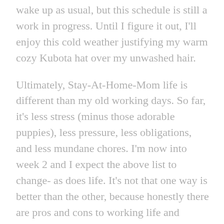wake up as usual, but this schedule is still a work in progress. Until I figure it out, I'll enjoy this cold weather justifying my warm cozy Kubota hat over my unwashed hair.
Ultimately, Stay-At-Home-Mom life is different than my old working days. So far, it's less stress (minus those adorable puppies), less pressure, less obligations, and less mundane chores. I'm now into week 2 and I expect the above list to change- as does life. It's not that one way is better than the other, because honestly there are pros and cons to working life and staying home. However, for me at this point in life it feels like everything I've done until now has prepared me for this venture. Speaking of which, I should probably go make that next cup of coffee!